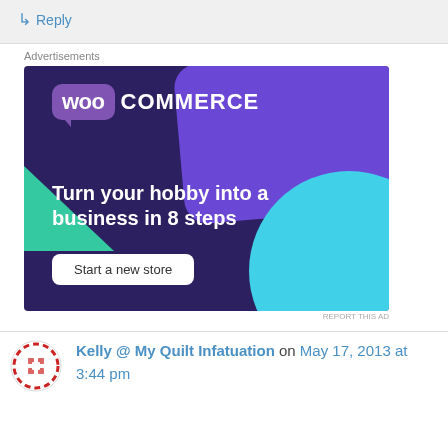↳ Reply
Advertisements
[Figure (illustration): WooCommerce advertisement banner with dark purple background, WooCommerce logo, teal triangle, cyan circle, text 'Turn your hobby into a business in 8 steps', and 'Start a new store' button]
REPORT THIS AD
Kelly @ My Quilt Infatuation on May 17, 2013 at 3:44 pm